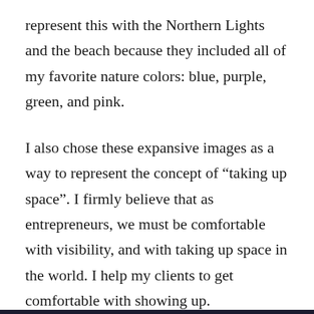represent this with the Northern Lights and the beach because they included all of my favorite nature colors: blue, purple, green, and pink.
I also chose these expansive images as a way to represent the concept of “taking up space”. I firmly believe that as entrepreneurs, we must be comfortable with visibility, and with taking up space in the world. I help my clients to get comfortable with showing up.